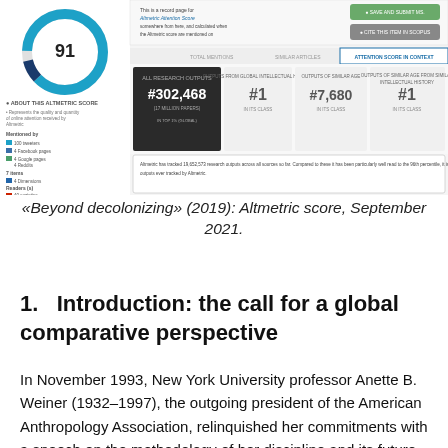[Figure (screenshot): Screenshot of Altmetric score page for 'Beyond decolonizing' (2019), showing a score of 91, global rank #302,468 all research outputs, #1 in intellectual history, #7,680 in its age group, and #1 in its age group intellectual history, dated September 2021.]
«Beyond decolonizing» (2019): Altmetric score, September 2021.
1.   Introduction: the call for a global comparative perspective
In November 1993, New York University professor Anette B. Weiner (1932–1997), the outgoing president of the American Anthropology Association, relinquished her commitments with a speech on the methodology of her discipline and its future path. The context at the time was the end of the Cold War and the new challenges facing anthropology as its